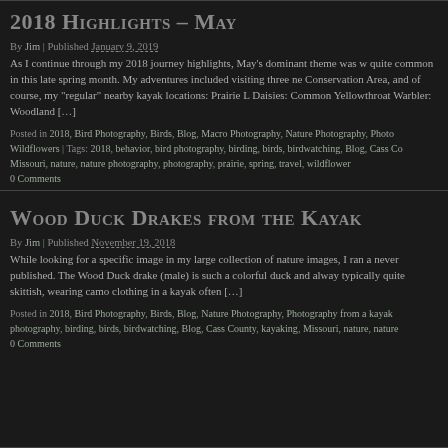2018 Highlights – May
By Jim | Published January 9, 2019
As I continue through my 2018 journey highlights, May's dominant theme was w quite common in this late spring month. My adventures included visiting three ne Conservation Area, and of course, my "regular" nearby kayak locations: Prairie L Daisies: Common Yellowthroat Warbler: Woodland [...]
Posted in 2018, Bird Photography, Birds, Blog, Macro Photography, Nature Photography, Photo Wildflowers | Tags: 2018, behavior, bird photography, birding, birds, birdwatching, Blog, Cass Co Missouri, nature, nature photography, photography, prairie, spring, travel, wildflower
0 Comments
Wood Duck Drakes from the Kayak
By Jim | Published November 19, 2018
While looking for a specific image in my large collection of nature images, I ran a never published. The Wood Duck drake (male) is such a colorful duck and alway typically quite skittish, wearing camo clothing in a kayak often [...]
Posted in 2018, Bird Photography, Birds, Blog, Nature Photography, Photography from a kayak photography, birding, birds, birdwatching, Blog, Cass County, kayaking, Missouri, nature, nature
0 Comments